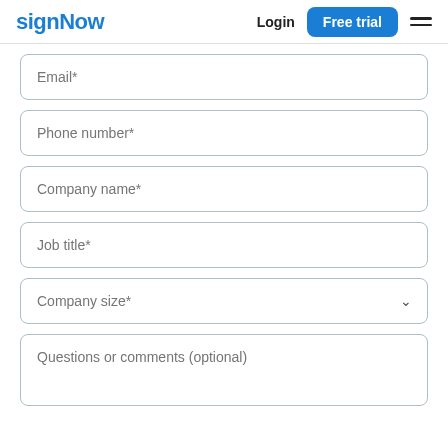signNow | Login | Free trial
Email*
Phone number*
Company name*
Job title*
Company size*
Questions or comments (optional)